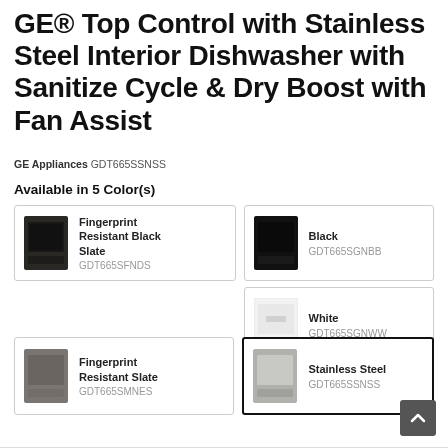GE® Top Control with Stainless Steel Interior Dishwasher with Sanitize Cycle & Dry Boost with Fan Assist
GE Appliances GDT665SSNSS
Available in 5 Color(s)
| Image | Name | SKU |
| --- | --- | --- |
| [Fingerprint Resistant Black Slate image] | Fingerprint Resistant Black Slate | GDT665SFNDS |
| [Black image] | Black | GDT665SGNBB |
| [White image] | White | GDT665SGNWW |
| [Fingerprint Resistant Slate image] | Fingerprint Resistant Slate | GDT665SMNES |
| [Stainless Steel image] | Stainless Steel | GDT665SSNSS |